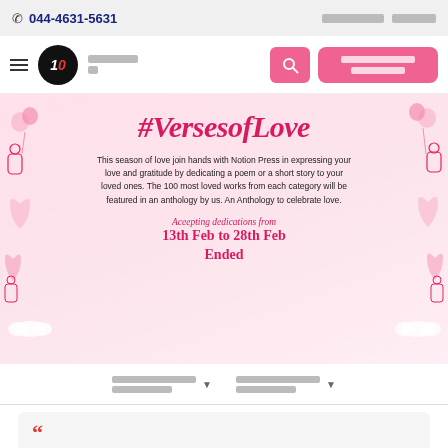044-4631-5631
[Figure (logo): 10F circular logo in black with red dot]
#VersesofLove
This season of love join hands with Notion Press in expressing your love and gratitude by dedicating a poem or a short story to your loved ones. The 100 most loved works from each category will be featured in an anthology by us. An Anthology to celebrate love.
Aceepting dedications from
13th Feb to 28th Feb
Ended
Little did I expect you bringing out the best in me And no, not